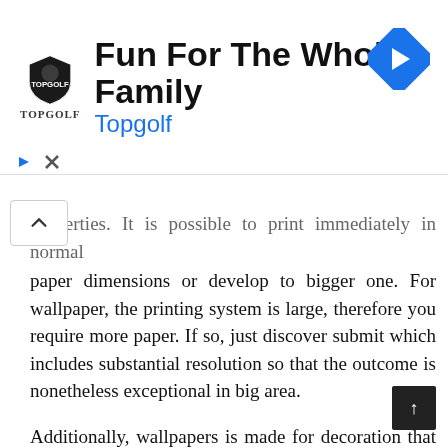[Figure (other): Advertisement banner for Topgolf: shield logo, text 'Fun For The Whole Family', subtitle 'Topgolf', blue navigation diamond icon on right, play and close controls at bottom.]
properties. It is possible to print immediately in normal paper dimensions or develop to bigger one. For wallpaper, the printing system is large, therefore you require more paper. If so, just discover submit which includes substantial resolution so that the outcome is nonetheless exceptional in big area.
Additionally, wallpapers is made for decoration that covers the substantial area about the wall structure. On in contrast, you might only require handful of stuff on the wall surface just for additional decoration. This is where you should think about Free Printable Mickey Mouse Template for home adornment.
In fact, adult is uncommon to place extravagant routine or ornament within their area. Largely, installed photo or particular second to reminiscence their existence. For the